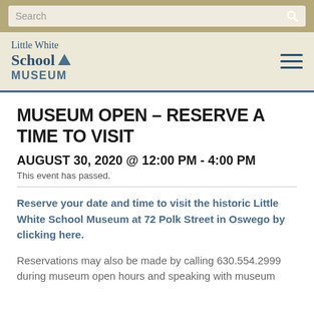Search
[Figure (logo): Little White School Museum logo with bird icon and hamburger menu]
MUSEUM OPEN – RESERVE A TIME TO VISIT
AUGUST 30, 2020 @ 12:00 PM - 4:00 PM
This event has passed.
Reserve your date and time to visit the historic Little White School Museum at 72 Polk Street in Oswego by clicking here.
Reservations may also be made by calling 630.554.2999 during museum open hours and speaking with museum